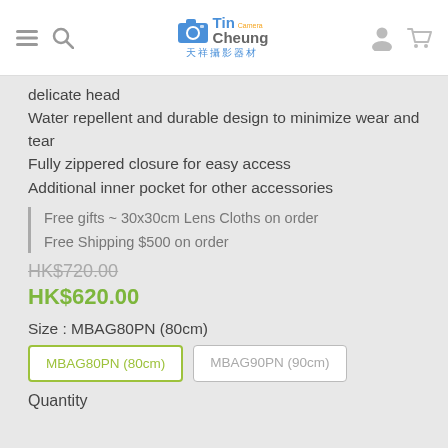Tin Cheung Camera 天祥攝影器材
delicate head
Water repellent and durable design to minimize wear and tear
Fully zippered closure for easy access
Additional inner pocket for other accessories
Free gifts ~ 30x30cm Lens Cloths on order
Free Shipping $500 on order
HK$720.00
HK$620.00
Size : MBAG80PN (80cm)
MBAG80PN (80cm)  MBAG90PN (90cm)
Quantity